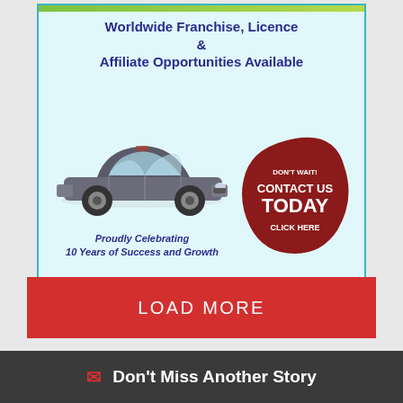[Figure (infographic): Advertisement banner with cyan background, green stripe at top, blue bold headline 'Worldwide Franchise, Licence & Affiliate Opportunities Available', a grey sedan car illustration, text 'Proudly Celebrating 10 Years of Success and Growth', and a dark red rounded blob with white text 'DON'T WAIT! CONTACT US TODAY CLICK HERE']
LOAD MORE
Don't Miss Another Story